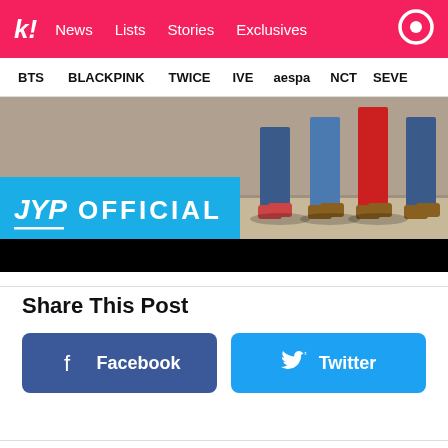k! News Lists Stories Exclusives
BTS BLACKPINK TWICE IVE aespa NCT SEVE
[Figure (photo): JYP Official banner image showing people's legs on a street, with a blue JYP Official logo overlay and black strip at bottom]
Share This Post
Facebook
Twitter